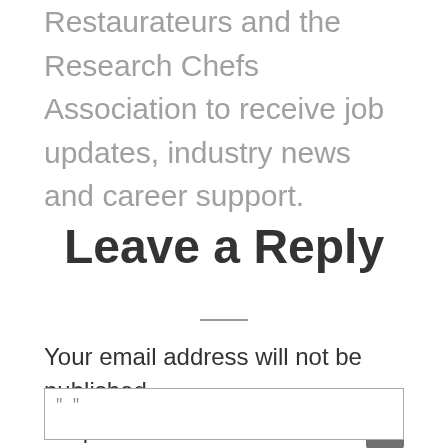Culinary Federation, Women's Chefs and Restaurateurs and the Research Chefs Association to receive job updates, industry news and career support.
Leave a Reply
Your email address will not be published. Required fields are marked *
" "